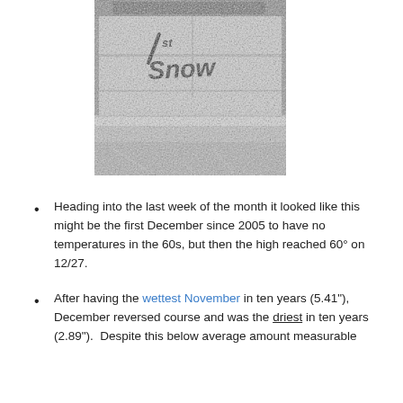[Figure (photo): Black and white photograph showing a snowy scene with handwritten text '1st Snow' written on what appears to be a snowy surface or wall, with a building visible in the background.]
Heading into the last week of the month it looked like this might be the first December since 2005 to have no temperatures in the 60s, but then the high reached 60° on 12/27.
After having the wettest November in ten years (5.41"), December reversed course and was the driest in ten years (2.89").  Despite this below average amount measurable